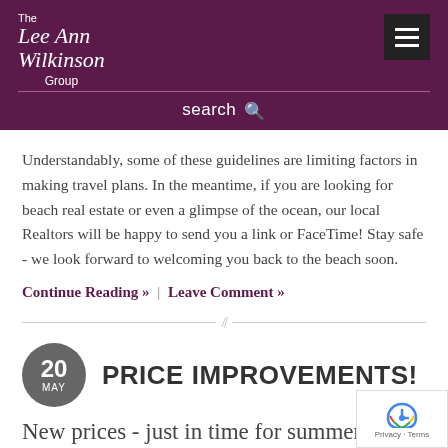The Lee Ann Wilkinson Group
Understandably, some of these guidelines are limiting factors in making travel plans. In the meantime, if you are looking for beach real estate or even a glimpse of the ocean, our local Realtors will be happy to send you a link or FaceTime! Stay safe - we look forward to welcoming you back to the beach soon.
Continue Reading » | Leave Comment »
20 MAY — PRICE IMPROVEMENTS!
New prices - just in time for summer!